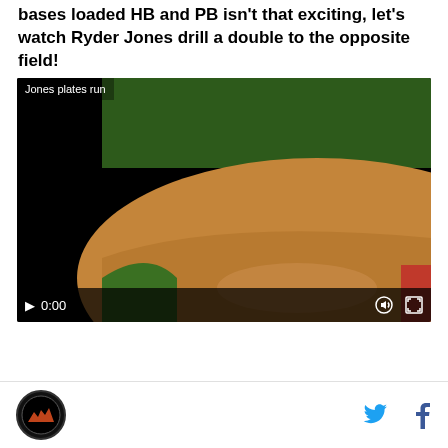bases loaded HB and PB isn't that exciting, let's watch Ryder Jones drill a double to the opposite field!
[Figure (screenshot): Video player showing a baseball game scene. Two players visible on a dirt infield — an umpire in black and a baserunner in white uniform. Video overlay label reads 'Jones plates run'. Controls show play button, 0:00 timestamp, volume and fullscreen icons. Red element at bottom right corner.]
[Figure (logo): Circular logo with dark background, appears to be a sports team logo with graphic emblem]